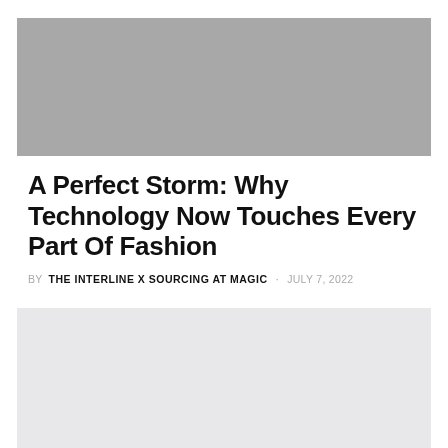[Figure (photo): Gray placeholder image at the top of the article]
A Perfect Storm: Why Technology Now Touches Every Part Of Fashion
BY THE INTERLINE X SOURCING AT MAGIC · JULY 7, 2022
[Figure (photo): Light gray placeholder image block below the byline]
[Figure (photo): Darker gray placeholder image block at the bottom]